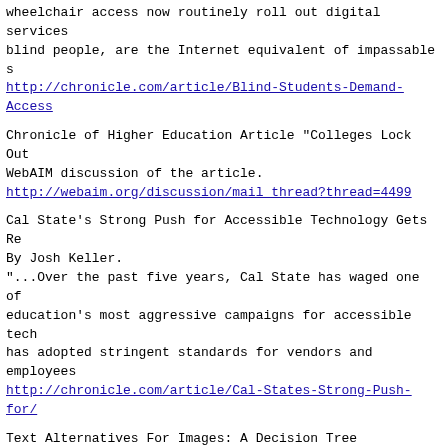wheelchair access now routinely roll out digital services blind people, are the Internet equivalent of impassable s http://chronicle.com/article/Blind-Students-Demand-Access
Chronicle of Higher Education Article "Colleges Lock Out WebAIM discussion of the article. http://webaim.org/discussion/mail thread?thread=4499
Cal State's Strong Push for Accessible Technology Gets Re By Josh Keller. "...Over the past five years, Cal State has waged one of education's most aggressive campaigns for accessible tech has adopted stringent standards for vendors and employees http://chronicle.com/article/Cal-States-Strong-Push-for/
Text Alternatives For Images: A Decision Tree By Dey Alexander. "To help you write better text alternatives for images, this decision tree. It asks three key questions. 1. What of the image?...2. Does the image present new information type of information is presented in the image?..." http://www.deyalexander.com.au/blog/2010/12/text-alternat
The French Chef Still Waits for The Annoying Orange: Mak Programming Accessible to People with Disabilities By Suzanne Robitaille and Michael Janger. "The new Twenty-first Century Communications and Video Ac Act will make it easier for people with disabilities to a programs over the Internet. While the law is a tremendous right direction, a surge in new types of online programmi